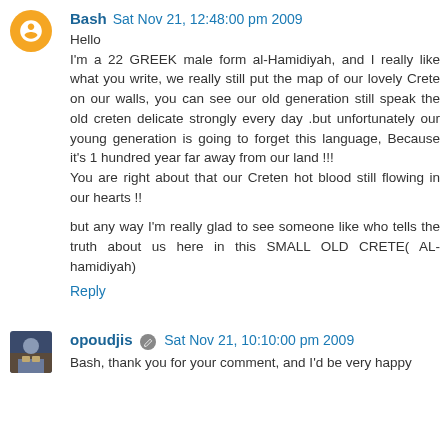Bash  Sat Nov 21, 12:48:00 pm 2009
Hello
I'm a 22 GREEK male form al-Hamidiyah, and I really like what you write, we really still put the map of our lovely Crete on our walls, you can see our old generation still speak the old creten delicate strongly every day .but unfortunately our young generation is going to forget this language, Because it's 1 hundred year far away from our land !!!
You are right about that our Creten hot blood still flowing in our hearts !!

but any way I'm really glad to see someone like who tells the truth about us here in this SMALL OLD CRETE( AL-hamidiyah)
Reply
opoudjis  Sat Nov 21, 10:10:00 pm 2009
Bash, thank you for your comment, and I'd be very happy